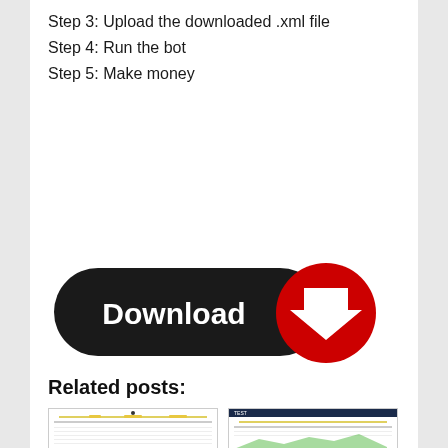Step 3: Upload the downloaded .xml file
Step 4: Run the bot
Step 5: Make money
[Figure (illustration): A black rounded-rectangle download button with white bold text 'Download' and a red circle with a white downward arrow icon on the right side.]
Related posts:
[Figure (screenshot): Thumbnail screenshot of a trading bot interface showing sliders and a data table.]
[Figure (screenshot): Thumbnail screenshot of a trading bot interface with dark navy header showing sliders and a data table with green chart area.]